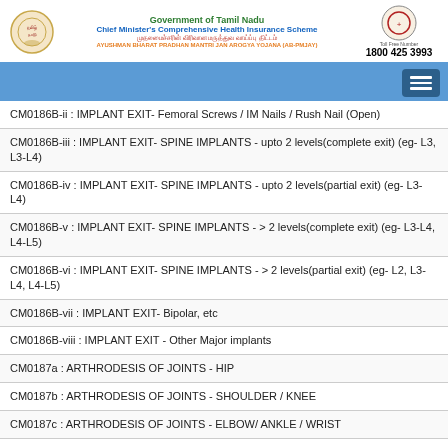Government of Tamil Nadu
Chief Minister's Comprehensive Health Insurance Scheme
முதலமைச்சரின் விரிவான மருத்துவ வாய்ப்பு திட்டம்
AYUSHMAN BHARAT PRADHAN MANTRI JAN AROGYA YOJANA (AB-PMJAY)
Toll Free Number: 1800 425 3993
CM0186B-ii : IMPLANT EXIT- Femoral Screws / IM Nails / Rush Nail (Open)
CM0186B-iii : IMPLANT EXIT- SPINE IMPLANTS - upto 2 levels(complete exit) (eg- L3, L3-L4)
CM0186B-iv : IMPLANT EXIT- SPINE IMPLANTS - upto 2 levels(partial exit) (eg- L3-L4)
CM0186B-v : IMPLANT EXIT- SPINE IMPLANTS - > 2 levels(complete exit) (eg- L3-L4, L4-L5)
CM0186B-vi : IMPLANT EXIT- SPINE IMPLANTS - > 2 levels(partial exit) (eg- L2, L3-L4, L4-L5)
CM0186B-vii : IMPLANT EXIT- Bipolar, etc
CM0186B-viii : IMPLANT EXIT - Other Major implants
CM0187a : ARTHRODESIS OF JOINTS - HIP
CM0187b : ARTHRODESIS OF JOINTS - SHOULDER / KNEE
CM0187c : ARTHRODESIS OF JOINTS - ELBOW/ ANKLE / WRIST
CM0187d : ARTHRODESIS OF JOINTS - ANKLE - Triple Arthrodesis